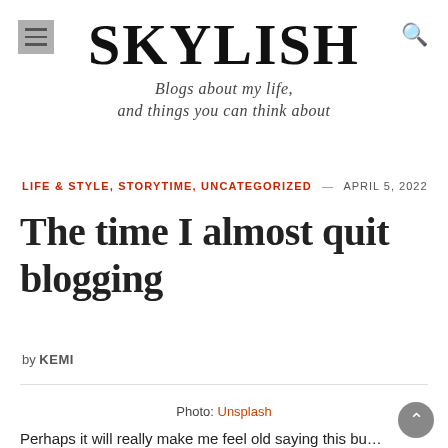SKYLISH — Blogs about my life and things you can think about
LIFE & STYLE, STORYTIME, UNCATEGORIZED — APRIL 5, 2022
The time I almost quit blogging
by KEMI
Photo: Unsplash
Perhaps it will really make me feel old saying this bu…